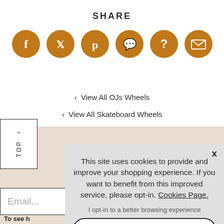SHARE
[Figure (illustration): Six orange circular social media share icons: Facebook, Twitter, Pinterest, WhatsApp, Question/Help, Email]
‹ View All OJs Wheels
‹ View All Skateboard Wheels
‹ View All OJs Wheels Skateboard Wheels
This site uses cookies to provide and improve your shopping experience. If you want to benefit from this improved service, please opt-in. Cookies Page.
I opt-in to a better browsing experience
ACCEPT COOKIES
Email...
To see h